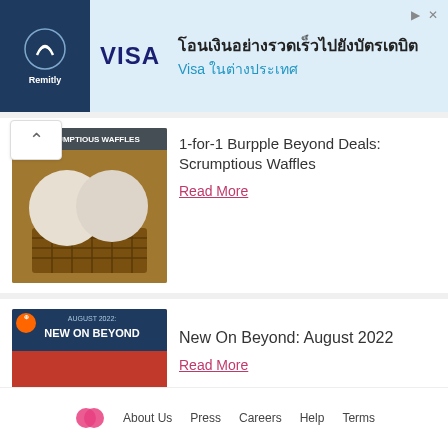[Figure (other): Remitly and Visa advertisement banner in Thai language]
[Figure (photo): Thumbnail image of waffles with ice cream scoops, with text SCRUMPTIOUS WAFFLES overlay]
1-for-1 Burpple Beyond Deals: Scrumptious Waffles
Read More
[Figure (photo): Thumbnail with AUGUST 2022: NEW ON BEYOND banner and lobster/seafood food photo]
New On Beyond: August 2022
Read More
[Figure (photo): Thumbnail with JULY 2022: NEW ON BEYOND banner and French toast food photo]
New On Beyond: July 2022
Read More
About Us   Press   Careers   Help   Terms